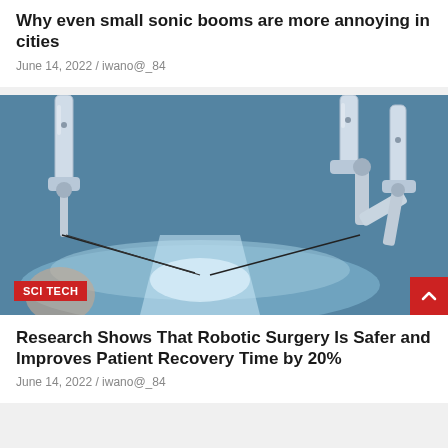Why even small sonic booms are more annoying in cities
June 14, 2022 / iwano@_84
[Figure (photo): Robotic surgical arms positioned over a patient on an operating table, photographed in a blue-tinted operating room environment. The robotic arms are white/metallic with precision instruments.]
SCI TECH
Research Shows That Robotic Surgery Is Safer and Improves Patient Recovery Time by 20%
June 14, 2022 / iwano@_84